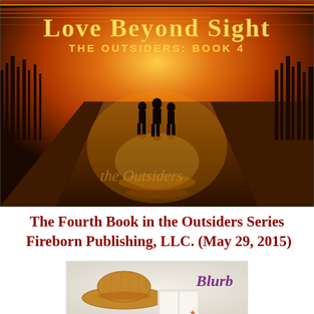[Figure (illustration): Book cover for 'Love Beyond Sight – The Outsiders: Book 4'. Dark orange/amber sunset sky with silhouettes of three people walking on a wet road. Text 'the Outsiders' written on the road. Title 'Love Beyond Sight' in large metallic gold letters at top, subtitle 'THE OUTSIDERS: BOOK 4' in smaller gold text below.]
The Fourth Book in the Outsiders Series  Fireborn Publishing, LLC. (May 29, 2015)
[Figure (photo): Image showing a straw hat, an open book, and the word 'Blurb' written in purple cursive script, on a light background.]